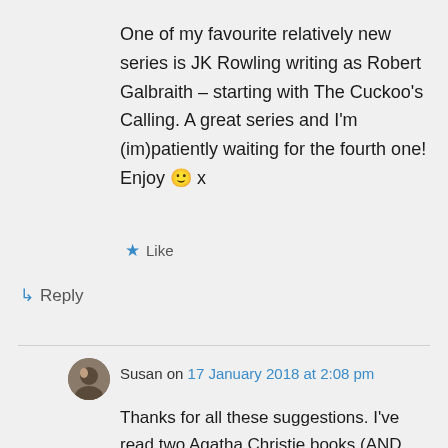One of my favourite relatively new series is JK Rowling writing as Robert Galbraith – starting with The Cuckoo's Calling. A great series and I'm (im)patiently waiting for the fourth one! Enjoy 🙂 x
★ Like
↳ Reply
Susan on 17 January 2018 at 2:08 pm
Thanks for all these suggestions. I've read two Agatha Christie books (AND THEN THERE WERE NONE and MURDER ON THE ORIENT EXPRESS), but that's it from your